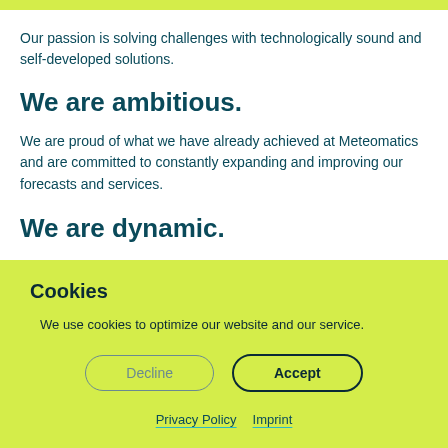Our passion is solving challenges with technologically sound and self-developed solutions.
We are ambitious.
We are proud of what we have already achieved at Meteomatics and are committed to constantly expanding and improving our forecasts and services.
We are dynamic.
Cookies
We use cookies to optimize our website and our service.
Decline
Accept
Privacy Policy   Imprint